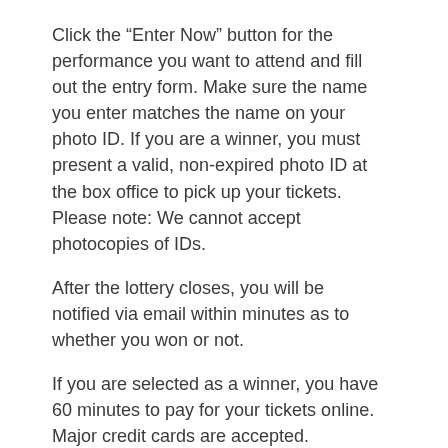Click the “Enter Now” button for the performance you want to attend and fill out the entry form. Make sure the name you enter matches the name on your photo ID. If you are a winner, you must present a valid, non-expired photo ID at the box office to pick up your tickets. Please note: We cannot accept photocopies of IDs.
After the lottery closes, you will be notified via email within minutes as to whether you won or not.
If you are selected as a winner, you have 60 minutes to pay for your tickets online. Major credit cards are accepted.
IMPORTANT: If you do not pay for your tickets by the deadline listed in your confirmation they will be released and re-sold.
After you pay and receive your payment confirmation, you can pick up your tickets at the Box Office no sooner than 30 minutes before show time with a valid photo ID.